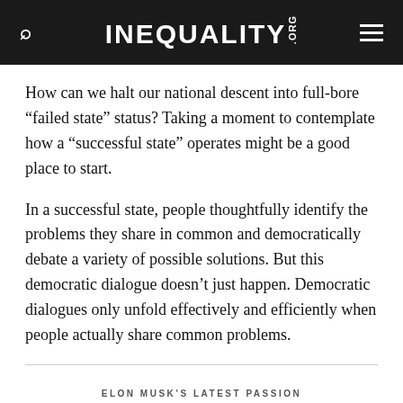INEQUALITY.ORG
How can we halt our national descent into full-bore “failed state” status? Taking a moment to contemplate how a “successful state” operates might be a good place to start.
In a successful state, people thoughtfully identify the problems they share in common and democratically debate a variety of possible solutions. But this democratic dialogue doesn’t just happen. Democratic dialogues only unfold effectively and efficiently when people actually share common problems.
ELON MUSK’S LATEST PASSION
Civil disobedience, billionaire–style →